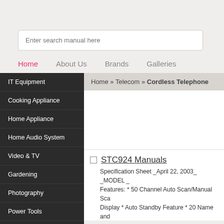Enter search manual here
Home | About Us | Brands | Galleries
IT Equipment
Cooking Appliance
Home Appliance
Home Audio System
Video & TV
Gardening
Photography
Power Tools
Portable Media
Automotive
Home » Telecom » Cordless Telephone
STC924 Manuals
Specification Sheet _April 22, 2003_ _MODEL _ Features: * 50 Channel Auto Scan/Manual Scan Display * Auto Standby Feature * 20 Name and Caller ID (stores 40 calls) * Call Waiting * Out o